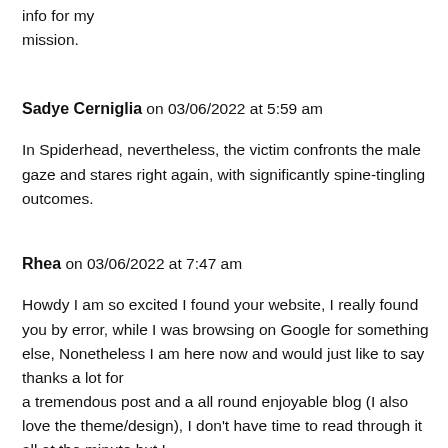info for my mission.
Sadye Cerniglia on 03/06/2022 at 5:59 am
In Spiderhead, nevertheless, the victim confronts the male gaze and stares right again, with significantly spine-tingling outcomes.
Rhea on 03/06/2022 at 7:47 am
Howdy I am so excited I found your website, I really found you by error, while I was browsing on Google for something else, Nonetheless I am here now and would just like to say thanks a lot for a tremendous post and a all round enjoyable blog (I also love the theme/design), I don't have time to read through it all at the minute but I